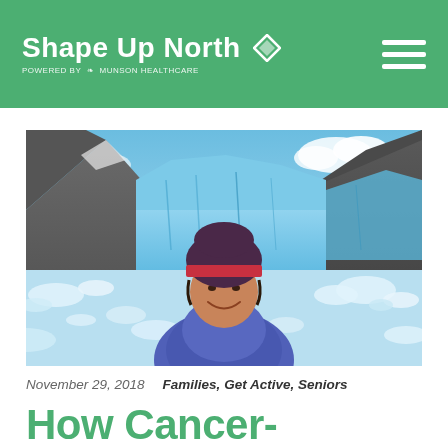Shape Up North — Powered by Munson Healthcare
[Figure (photo): Woman smiling in front of a glacier landscape with blue ice and mountains, wearing a dark beanie with red brim and purple jacket]
November 29, 2018    Families, Get Active, Seniors
How Cancer-Survivor